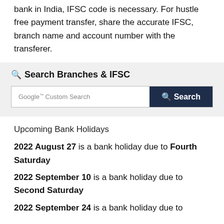bank in India, IFSC code is necessary. For hustle free payment transfer, share the accurate IFSC, branch name and account number with the transferer.
Search Branches & IFSC
Google™ Custom Search  Search
Upcoming Bank Holidays
2022 August 27 is a bank holiday due to Fourth Saturday
2022 September 10 is a bank holiday due to Second Saturday
2022 September 24 is a bank holiday due to